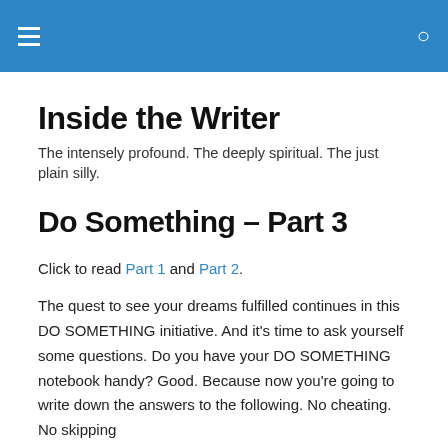Inside the Writer — navigation header with hamburger menu and search icon
Inside the Writer
The intensely profound. The deeply spiritual. The just plain silly.
Do Something – Part 3
Click to read Part 1 and Part 2.
The quest to see your dreams fulfilled continues in this DO SOMETHING initiative. And it's time to ask yourself some questions. Do you have your DO SOMETHING notebook handy? Good. Because now you're going to write down the answers to the following. No cheating. No skipping